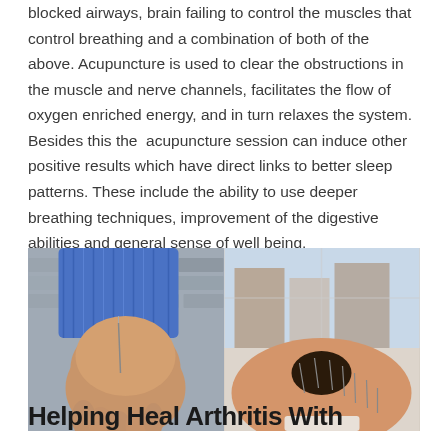blocked airways, brain failing to control the muscles that control breathing and a combination of both of the above. Acupuncture is used to clear the obstructions in the muscle and nerve channels, facilitates the flow of oxygen enriched energy, and in turn relaxes the system. Besides this the  acupuncture session can induce other positive results which have direct links to better sleep patterns. These include the ability to use deeper breathing techniques, improvement of the digestive abilities and general sense of well being.
[Figure (photo): Two side-by-side photos: left shows a practitioner inserting an acupuncture needle into a patient's hand/wrist area against a brick wall background; right shows a person lying face down with multiple acupuncture needles in their back.]
Helping Heal Arthritis With